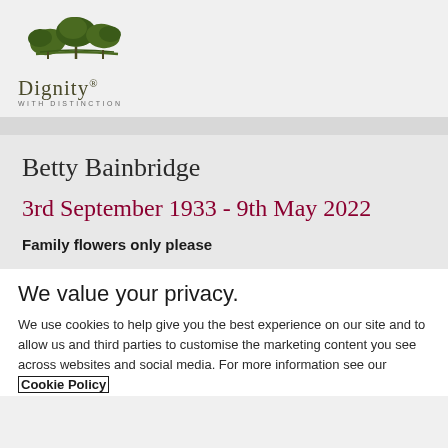[Figure (logo): Dignity with Distinction logo — green tree illustration above the word Dignity with a registered trademark symbol, and 'WITH DISTINCTION' in small caps below]
Betty Bainbridge
3rd September 1933 - 9th May 2022
Family flowers only please
We value your privacy.
We use cookies to help give you the best experience on our site and to allow us and third parties to customise the marketing content you see across websites and social media. For more information see our Cookie Policy